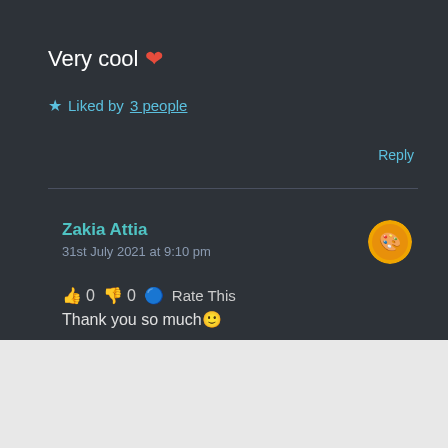Very cool ❤
★ Liked by 3 people
Reply
Zakia Attia
31st July 2021 at 9:10 pm
👍 0 👎 0 🔵 Rate This
Thank you so much😊
Advertisements
[Figure (screenshot): Jetpack advertisement banner with 'Secure Your Site' button on green background]